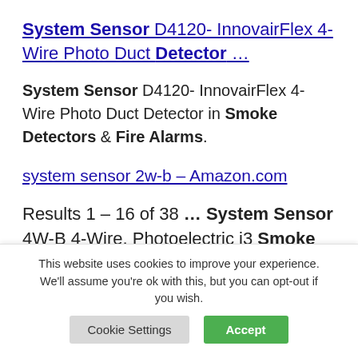System Sensor D4120- InnovairFlex 4-Wire Photo Duct Detector …
System Sensor D4120- InnovairFlex 4-Wire Photo Duct Detector in Smoke Detectors & Fire Alarms.
system sensor 2w-b – Amazon.com
Results 1 – 16 of 38 … System Sensor 4W-B 4-Wire, Photoelectric i3 Smoke Detector … Kidde Smoke
This website uses cookies to improve your experience. We'll assume you're ok with this, but you can opt-out if you wish.